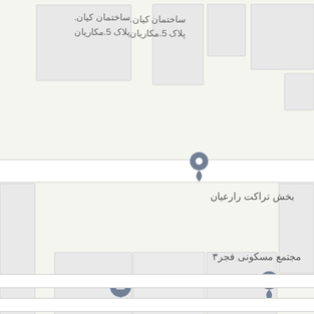[Figure (map): Street map in Persian showing buildings, roads, and location pins. Labels include: ساختمان کیان. پلاک 5.مکاریان (Kian Building, Plate 5, Makarian), بخش تراکت رارعیان (Raraian Tract Section), and مجتمع مسکونی فجر۳ (Fajr 3 Residential Complex). Two map pins are visible: one standard location pin near بخش تراکت رارعیان, and one education/school pin near center. A third location pin appears at the bottom near مجتمع مسکونی فجر۳.]